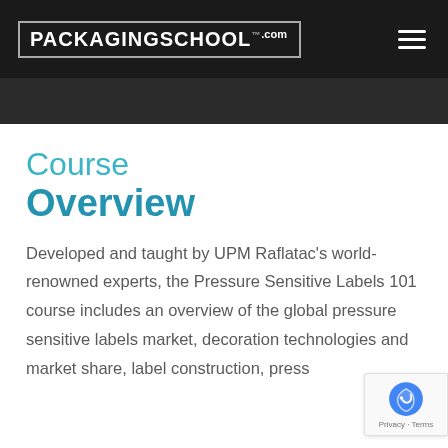[Figure (logo): PackagingSchool.com logo in white text inside a rectangular border on a dark background, with a hamburger menu icon on the right]
[Figure (photo): Dark banner area partially showing a course-related image with dark overlay]
Course Overview
Developed and taught by UPM Raflatac's world-renowned experts, the Pressure Sensitive Labels 101 course includes an overview of the global pressure sensitive labels market, decoration technologies and market share, label construction, press